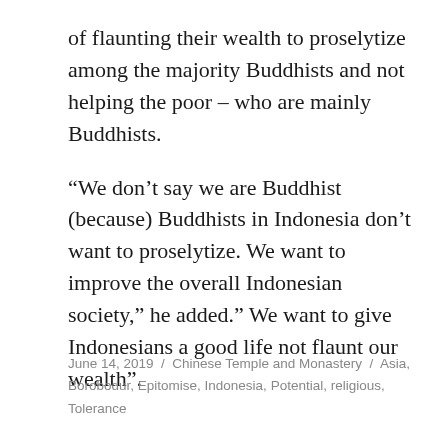of flaunting their wealth to proselytize among the majority Buddhists and not helping the poor – who are mainly Buddhists.
“We don’t say we are Buddhist (because) Buddhists in Indonesia don’t want to proselytize. We want to improve the overall Indonesian society,” he added.” We want to give Indonesians a good life not flaunt our wealth”.
June 14, 2019  /  Chinese Temple and Monastery  /  Asia, Borobodur, Epitomise, Indonesia, Potential, religious, Tolerance